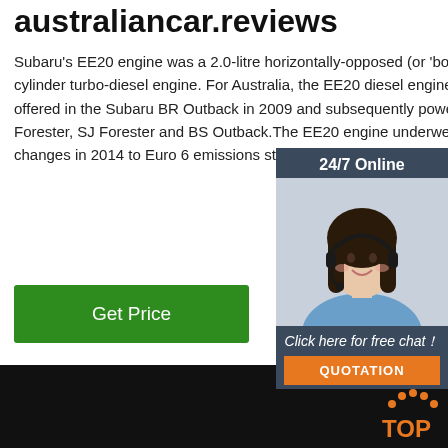australiancar.reviews
Subaru's EE20 engine was a 2.0-litre horizontally-opposed (or 'boxer') four-cylinder turbo-diesel engine. For Australia, the EE20 diesel engine was first offered in the Subaru BR Outback in 2009 and subsequently powered the Forester, SJ Forester and BS Outback.The EE20 engine underwent substantial changes in 2014 to Euro 6 emissions standards – ...
[Figure (other): Green 'Get Price' button]
[Figure (photo): Chat widget with '24/7 Online' header, photo of woman with headset, 'Click here for free chat!' text, and orange QUOTATION button]
[Figure (photo): Dark/black background image with a business card showing Chinese company name Inner Mongolia Xinhong Biotech Company Limited and product label, with orange TOP logo in bottom right]